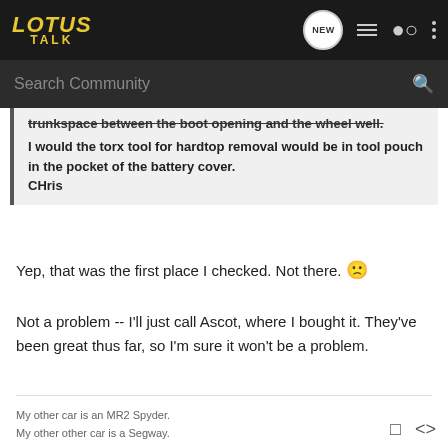LOTUS TALK
Search Community
trunkspace between the boot opening and the wheel well.
I would the torx tool for hardtop removal would be in tool pouch in the pocket of the battery cover.
CHris
Yep, that was the first place I checked. Not there. 🙁
Not a problem -- I'll just call Ascot, where I bought it. They've been great thus far, so I'm sure it won't be a problem.
My other car is an MR2 Spyder.
My other other car is a Segway.